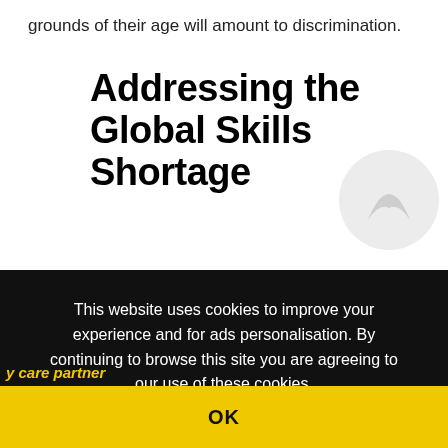grounds of their age will amount to discrimination.
Addressing the Global Skills Shortage
This website uses cookies to improve your experience and for ads personalisation. By continuing to browse this site you are agreeing to our use of these cookies. You can learn more about the cookies we use here.
OK